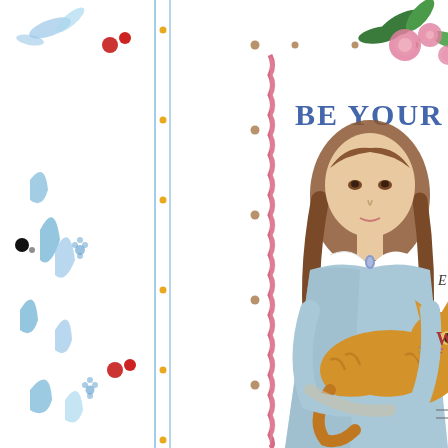[Figure (illustration): Illustrated page spread showing a decorative border on the left with blue botanical motifs, red berries, orange dots, and a black dot on a white background. On the right side, a book cover or interior page with a pink/red wavy border, floral decoration (pink roses with green leaves) in the upper right corner, large blue text reading 'BE YOUR OWN' at the top, and a watercolor illustration of a girl with long brown hair wearing a light blue dress and white collar, holding an orange tabby cat. Small text 'E' and 'W' with additional partial text visible on the right edge.]